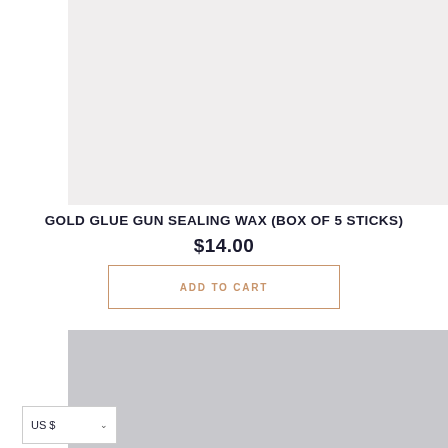[Figure (photo): Product image placeholder - light gray background rectangle for gold glue gun sealing wax product]
GOLD GLUE GUN SEALING WAX (BOX OF 5 STICKS)
$14.00
ADD TO CART
[Figure (photo): Second product image placeholder - medium gray background rectangle]
US $